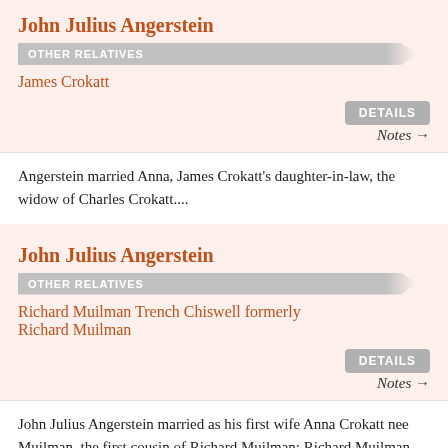John Julius Angerstein
OTHER RELATIVES
James Crokatt
DETAILS
Notes →
Angerstein married Anna, James Crokatt's daughter-in-law, the widow of Charles Crokatt....
John Julius Angerstein
OTHER RELATIVES
Richard Muilman Trench Chiswell formerly Richard Muilman
DETAILS
Notes →
John Julius Angerstein married as his first wife Anna Crokatt nee Muilman, the first cousin of Richard Muilman: Richard Muilman, his father Peter Muilman and his uncle Henry Muilman were business